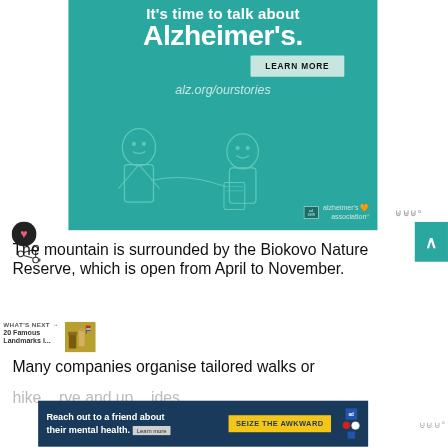[Figure (photo): Alzheimer's Association advertisement with teal background, showing cartoon illustration of two elderly people talking. Text reads 'It's time to talk about Alzheimer's.' with 'LEARN MORE' button and 'alz.org/ourstories' URL. Alzheimer's Association logo in bottom right.]
The mountain is surrounded by the Biokovo Nature Reserve, which is open from April to November.
[Figure (other): WHAT'S NEXT promo block: '20 Famous Landmarks i...' with an Italian landmarks illustration]
Many companies organise tailored walks or
hike ... rve and up ... ides
[Figure (other): Advertisement: 'Reach out to a friend about their mental health. Learn more' with 'SEIZE THE AWKWARD' button in yellow, ad badge and organization logos on right.]